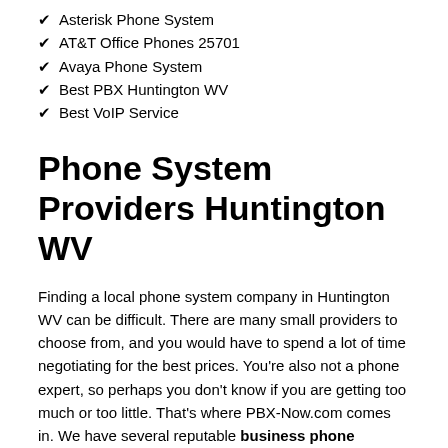✔ Asterisk Phone System
✔ AT&T Office Phones 25701
✔ Avaya Phone System
✔ Best PBX Huntington WV
✔ Best VoIP Service
Phone System Providers Huntington WV
Finding a local phone system company in Huntington WV can be difficult. There are many small providers to choose from, and you would have to spend a lot of time negotiating for the best prices. You're also not a phone expert, so perhaps you don't know if you are getting too much or too little. That's where PBX-Now.com comes in. We have several reputable business phone providers in Huntington WV that will compete for your business. They receive your specifications and requirements and will email you options